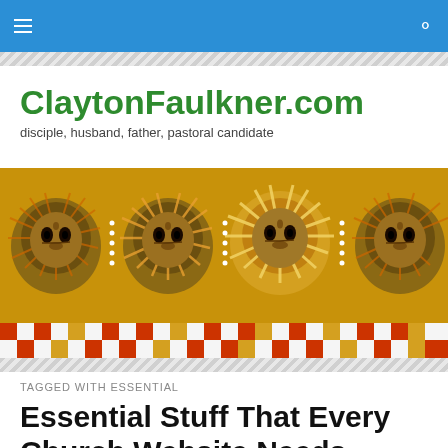ClaytonFaulkner.com navigation bar
ClaytonFaulkner.com
disciple, husband, father, pastoral candidate
[Figure (illustration): Ethiopian/Byzantine style religious artwork showing four angelic faces with radiant halos and wings on a decorative patterned background with geometric and floral motifs]
TAGGED WITH ESSENTIAL
Essential Stuff That Every Church Website Needs